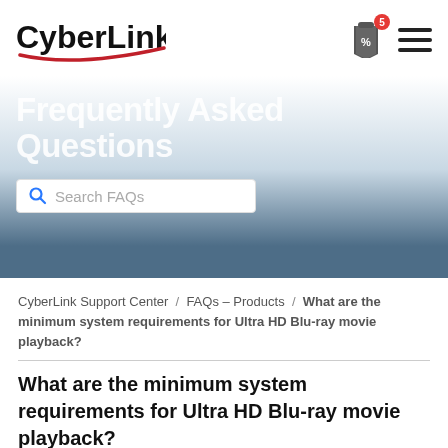[Figure (logo): CyberLink logo with red swoosh underline]
[Figure (other): Price tag icon with red badge showing '5' and a hamburger menu icon]
Frequently Asked Questions
Search FAQs
CyberLink Support Center / FAQs – Products / What are the minimum system requirements for Ultra HD Blu-ray movie playback?
What are the minimum system requirements for Ultra HD Blu-ray movie playback?